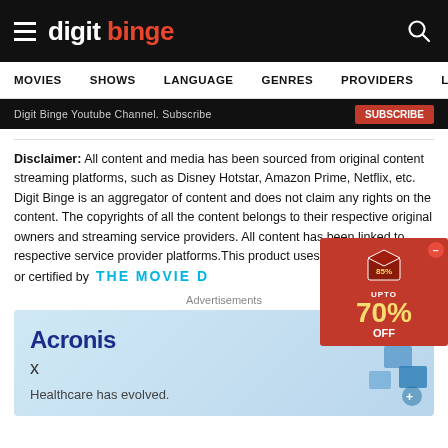digit binge
MOVIES  SHOWS  LANGUAGE  GENRES  PROVIDERS  LATE
Digit Binge Youtube Channel. Subscribe
Disclaimer: All content and media has been sourced from original content streaming platforms, such as Disney Hotstar, Amazon Prime, Netflix, etc. Digit Binge is an aggregator of content and does not claim any rights on the content. The copyrights of all the content belongs to their respective original owners and streaming service providers. All content has been linked to respective service provider platforms.This product uses the TMDb API but is not endorsed or certified by
[Figure (advertisement): Red advertisement popup showing 70% OFF deal with kitchen appliances]
[Figure (advertisement): THE MOVIE DB watermark text inline]
Advertisements
[Figure (advertisement): Acronis advertisement banner with blue gradient background. Text: Acronis x Healthcare has evolved.]